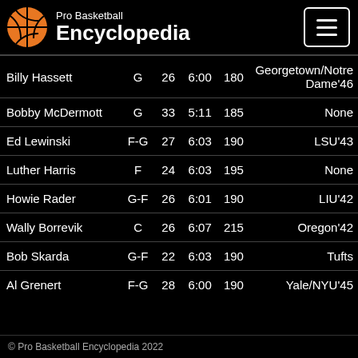Pro Basketball Encyclopedia
| Name | Pos | Age | Ht | Wt | College |
| --- | --- | --- | --- | --- | --- |
| Billy Hassett | G | 26 | 6:00 | 180 | Georgetown/Notre Dame'46 |
| Bobby McDermott | G | 33 | 5:11 | 185 | None |
| Ed Lewinski | F-G | 27 | 6:03 | 190 | LSU'43 |
| Luther Harris | F | 24 | 6:03 | 195 | None |
| Howie Rader | G-F | 26 | 6:01 | 190 | LIU'42 |
| Wally Borrevik | C | 26 | 6:07 | 215 | Oregon'42 |
| Bob Skarda | G-F | 22 | 6:03 | 190 | Tufts |
| Al Grenert | F-G | 28 | 6:00 | 190 | Yale/NYU'45 |
© Pro Basketball Encyclopedia 2022